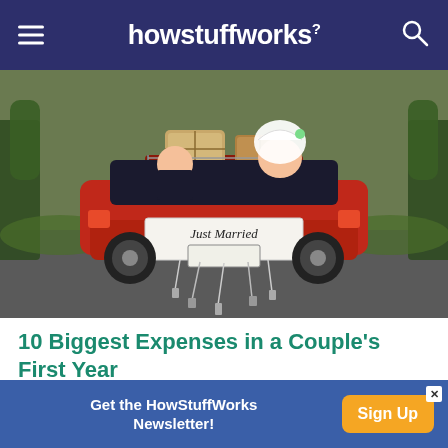howstuffworks
[Figure (photo): A red convertible classic car driving away with 'Just Married' sign on the back, luggage on the trunk rack, bride and groom visible from behind, trees on both sides of a road]
10 Biggest Expenses in a Couple's First Year
Congratulations! After months of planning, you are officially married. Now it's time to kick back, relax an…
Get the HowStuffWorks Newsletter! Sign Up